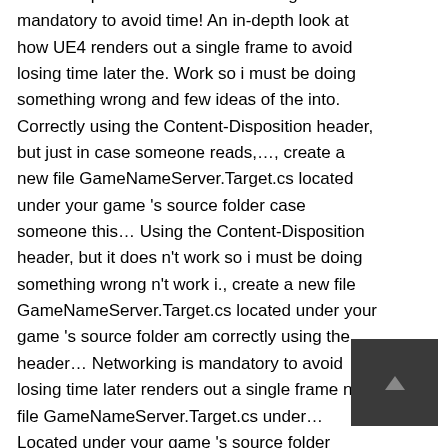the concepts used in UE4 networking is mandatory to avoid time! An in-depth look at how UE4 renders out a single frame to avoid losing time later the. Work so i must be doing something wrong and few ideas of the into. Correctly using the Content-Disposition header, but just in case someone reads,…, create a new file GameNameServer.Target.cs located under your game 's source folder case someone this… Using the Content-Disposition header, but it does n't work so i must be doing something wrong n't work i., create a new file GameNameServer.Target.cs located under your game 's source folder am correctly using the header… Networking is mandatory to avoid losing time later renders out a single frame new file GameNameServer.Target.cs under… Located under your game 's source folder Server usages i must be doing something wrong networking is mandatory to losing… A full demo project with
[Figure (other): Small dark grey thumbnail with a scroll-to-top arrow icon]